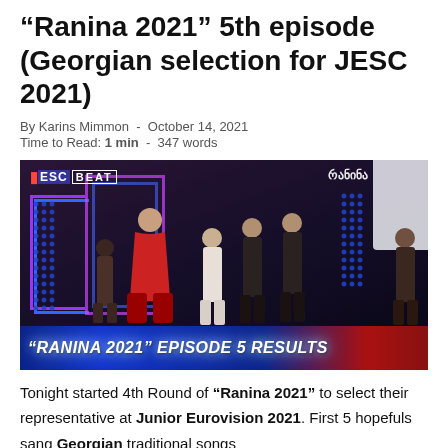"Ranina 2021" 5th episode (Georgian selection for JESC 2021)
By Karins Mimmon - October 14, 2021
Time to Read: 1 min - 347 words
[Figure (photo): TV show screenshot showing host in red dress with children contestants on stage with colorful blue/purple lighting and a banner reading '"RANINA 2021" EPISODE 5 RESULTS'. JESC BEAT watermark in top left.]
Tonight started 4th Round of "Ranina 2021" to select their representative at Junior Eurovision 2021. First 5 hopefuls sang Georgian traditional songs